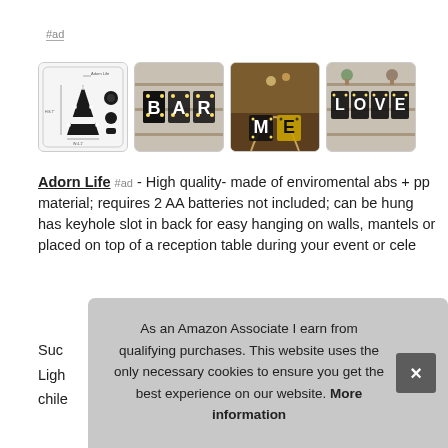#ad
[Figure (photo): Four product images of illuminated marquee letter lights: first shows a single 'A' letter with dimensions and components; second shows 'BAR' letters on a shelf backdrop; third shows 'ME' letters in a decorative indoor setting; fourth shows 'LOVE' letters on a shelf backdrop.]
Adorn Life #ad - High quality- made of enviromental abs + pp material; requires 2 AA batteries not included; can be hung has keyhole slot in back for easy hanging on walls, mantels or placed on top of a reception table during your event or cele...
Suc... Ligh... chile...
As an Amazon Associate I earn from qualifying purchases. This website uses the only necessary cookies to ensure you get the best experience on our website. More information